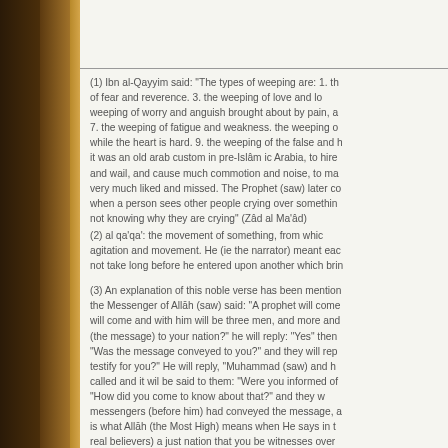(1) Ibn al-Qayyim said: "The types of weeping are: 1. the weeping of fear and reverence. 3. the weeping of love and longing. weeping of worry and anguish brought about by pain, a 7. the weeping of fatigue and weakness. the weeping while the heart is hard. 9. the weeping of the false and h it was an old arab custom in pre-Islâm ic Arabia, to hire and wail, and cause much commotion and noise, to ma very much liked and missed. The Prophet (saw) later co when a person sees other people crying over something not knowing why they are crying" (Zâd al Ma'âd)
(2) al qa'qa': the movement of something, from which agitation and movement. He (ie the narrator) meant each not take long before he entered upon another which bri
(3) An explanation of this noble verse has been mention the Messenger of Allāh (saw) said: "A prophet will come will come and with him will be three men, and more and (the message) to your nation?" he will reply: "Yes" then "Was the message conveyed to you?" and they will rep testify for you?" He will reply, "Muhammad (saw) and h called and it wil be said to them: "Were you informed of "How did you come to know about that?" and they w messengers (before him) had conveyed the message, a is what Allāh (the Most High) means when He says in t real believers) a just nation that you be witnesses over be a witness over you..." (2:143) (Ibn Māajah, Ahmad, an